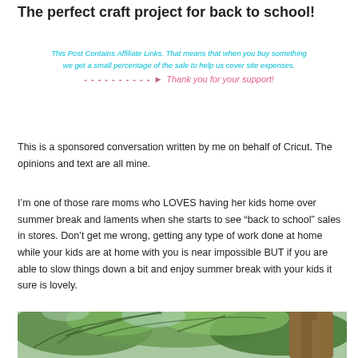The perfect craft project for back to school!
This Post Contains Affiliate Links. That means that when you buy something we get a small percentage of the sale to help us cover site expenses.
---------- Thank you for your support!
This is a sponsored conversation written by me on behalf of Cricut. The opinions and text are all mine.
I'm one of those rare moms who LOVES having her kids home over summer break and laments when she starts to see “back to school” sales in stores. Don’t get me wrong, getting any type of work done at home while your kids are at home with you is near impossible BUT if you are able to slow things down a bit and enjoy summer break with your kids it sure is lovely.
[Figure (photo): Outdoor nature photo showing tree branches with green leaves and a large tree trunk]